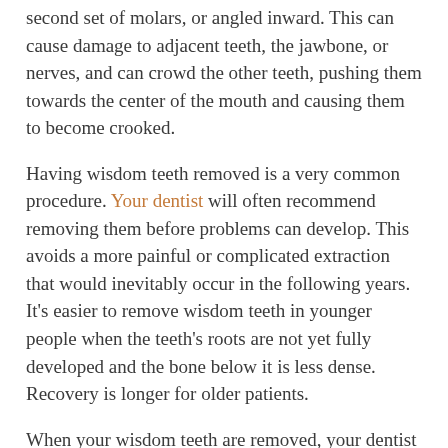second set of molars, or angled inward. This can cause damage to adjacent teeth, the jawbone, or nerves, and can crowd the other teeth, pushing them towards the center of the mouth and causing them to become crooked.
Having wisdom teeth removed is a very common procedure. Your dentist will often recommend removing them before problems can develop. This avoids a more painful or complicated extraction that would inevitably occur in the following years. It's easier to remove wisdom teeth in younger people when the teeth's roots are not yet fully developed and the bone below it is less dense. Recovery is longer for older patients.
When your wisdom teeth are removed, your dentist first needs to numb the area around the teeth with a local anesthetic. Since the impacted tooth may still be under the